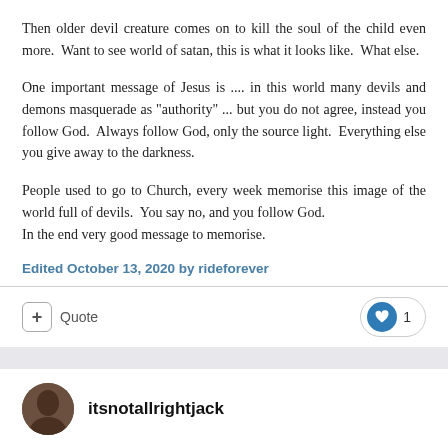Then older devil creature comes on to kill the soul of the child even more.  Want to see world of satan, this is what it looks like.  What else.
One important message of Jesus is .... in this world many devils and demons masquerade as "authority" ... but you do not agree, instead you follow God.  Always follow God, only the source light.  Everything else you give away to the darkness.
People used to go to Church, every week memorise this image of the world full of devils.  You say no, and you follow God.  In the end very good message to memorise.
Edited October 13, 2020 by rideforever
+ Quote
1
itsnotallrightjack